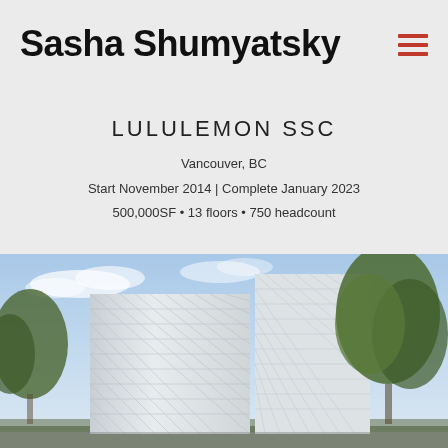Sasha Shumyatsky
LULULEMON SSC
Vancouver, BC
Start November 2014 | Complete January 2023
500,000SF • 13 floors • 750 headcount
[Figure (photo): Architectural rendering of the Lululemon SSC building in Vancouver — a modern white multi-story building with a faceted diamond-pattern facade, surrounded by trees under a partly cloudy sky.]